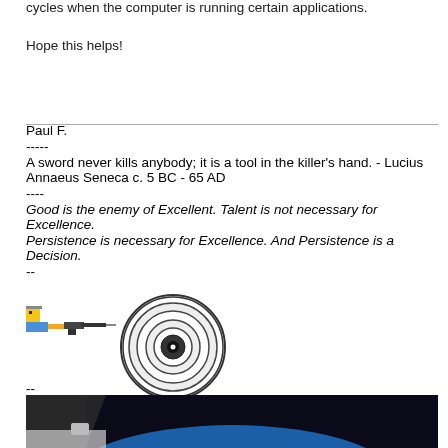cycles when the computer is running certain applications.
Hope this helps!
Paul F.
-----
A sword never kills anybody; it is a tool in the killer's hand. - Lucius Annaeus Seneca c. 5 BC - 65 AD
----
Good is the enemy of Excellent. Talent is not necessary for Excellence.
Persistence is necessary for Excellence. And Persistence is a Decision.
--
[Figure (illustration): Pixel art emoji of a character shooting a gun to the right]
[Figure (illustration): Pixel art target/bullseye icon with concentric circles]
--
[Figure (photo): Photo from inside a car (presumably Tesla Roadster in space) showing Earth from space with blue planet and white clouds visible through the windshield]